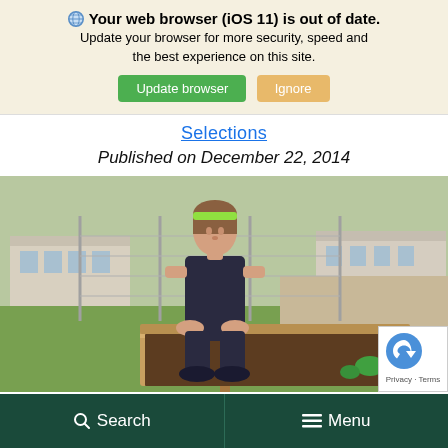Your web browser (iOS 11) is out of date. Update your browser for more security, speed and the best experience on this site. [Update browser] [Ignore]
Selections
Published on December 22, 2014
[Figure (photo): A young girl with a green headband wearing a dark tank top, kneeling at a raised garden bed outdoors, working with soil. A chain-link fence and a building are visible in the background.]
Search   Menu